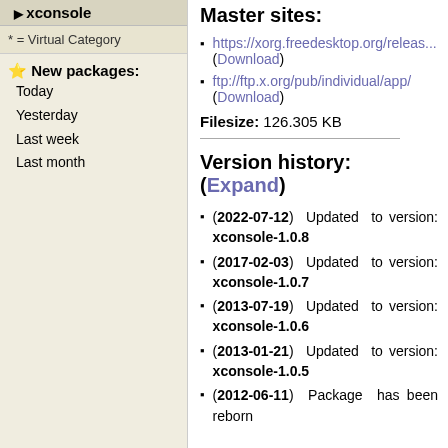xconsole
* = Virtual Category
⭐ New packages: Today Yesterday Last week Last month
Master sites:
https://xorg.freedesktop.org/releas... (Download)
ftp://ftp.x.org/pub/individual/app/ (Download)
Filesize: 126.305 KB
Version history: (Expand)
(2022-07-12) Updated to version: xconsole-1.0.8
(2017-02-03) Updated to version: xconsole-1.0.7
(2013-07-19) Updated to version: xconsole-1.0.6
(2013-01-21) Updated to version: xconsole-1.0.5
(2012-06-11) Package has been reborn